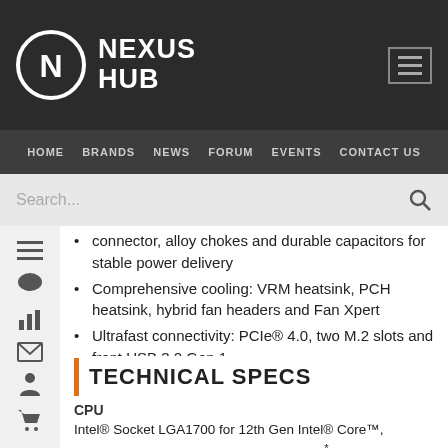NEXUS HUB — HOME BRANDS NEWS FORUM EVENTS CONTACT US
connector, alloy chokes and durable capacitors for stable power delivery
Comprehensive cooling: VRM heatsink, PCH heatsink, hybrid fan headers and Fan Xpert
Ultrafast connectivity: PCIe® 4.0, two M.2 slots and front USB 3.2 Gen 1
TECHNICAL SPECS
CPU
Intel® Socket LGA1700 for 12th Gen Intel® Core™, Pentium® Gold and Celeron® Processors*
Supports Intel® Turbo Boost Technology 2.0 and Intel® Turbo Boost Max Technology 3.0™